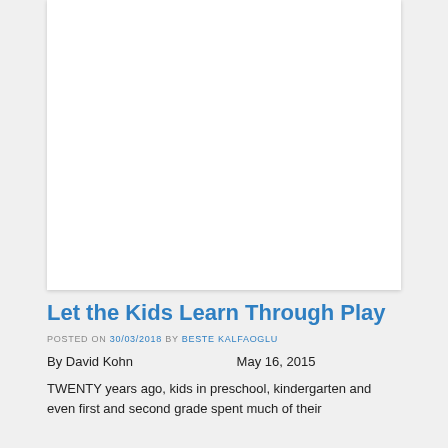[Figure (other): White image/content card placeholder at top of page]
Let the Kids Learn Through Play
POSTED ON 30/03/2018 BY BESTE KALFAOGLU
By David Kohn    May 16, 2015
TWENTY years ago, kids in preschool, kindergarten and even first and second grade spent much of their